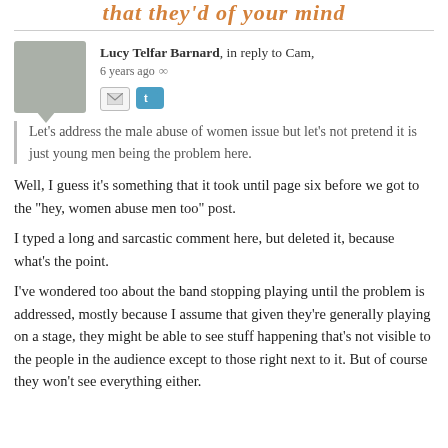That they'd of your mind
Lucy Telfar Barnard, in reply to Cam, 6 years ago ∞
Let's address the male abuse of women issue but let's not pretend it is just young men being the problem here.
Well, I guess it's something that it took until page six before we got to the "hey, women abuse men too" post.
I typed a long and sarcastic comment here, but deleted it, because what's the point.
I've wondered too about the band stopping playing until the problem is addressed, mostly because I assume that given they're generally playing on a stage, they might be able to see stuff happening that's not visible to the people in the audience except to those right next to it. But of course they won't see everything either.